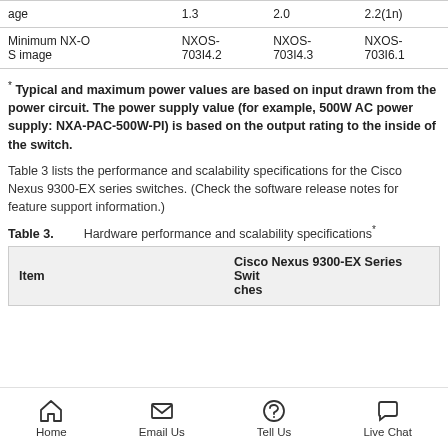|  |  |  |  |
| --- | --- | --- | --- |
| age | 1.3 | 2.0 | 2.2(1n) |
| Minimum NX-OS image | NXOS-703I4.2 | NXOS-703I4.3 | NXOS-703I6.1 |
* Typical and maximum power values are based on input drawn from the power circuit. The power supply value (for example, 500W AC power supply: NXA-PAC-500W-PI) is based on the output rating to the inside of the switch.
Table 3 lists the performance and scalability specifications for the Cisco Nexus 9300-EX series switches. (Check the software release notes for feature support information.)
Table 3.   Hardware performance and scalability specifications*
| Item | Cisco Nexus 9300-EX Series Switches |
| --- | --- |
Home  Email Us  Tell Us  Live Chat